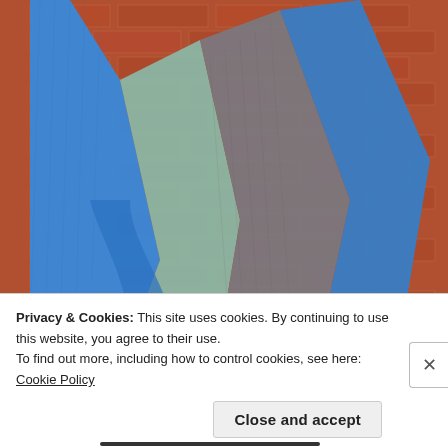[Figure (photo): Close-up photograph of a person wearing a colorful knitted sweater with diagonal blue, mint green, and gray stripes, set against a red brick wall background.]
Privacy & Cookies: This site uses cookies. By continuing to use this website, you agree to their use.
To find out more, including how to control cookies, see here: Cookie Policy
Close and accept